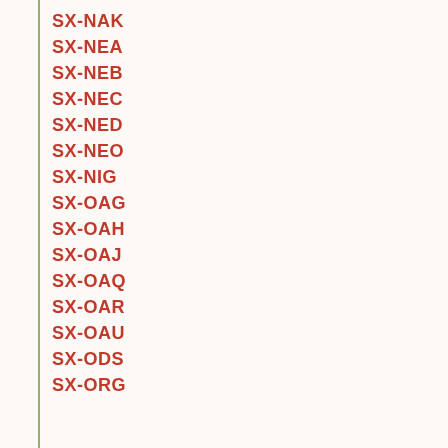SX-NAK
SX-NEA
SX-NEB
SX-NEC
SX-NED
SX-NEO
SX-NIG
SX-OAG
SX-OAH
SX-OAJ
SX-OAQ
SX-OAR
SX-OAU
SX-ODS
SX-ORG